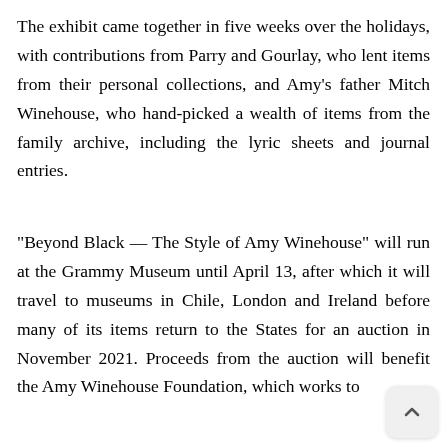The exhibit came together in five weeks over the holidays, with contributions from Parry and Gourlay, who lent items from their personal collections, and Amy’s father Mitch Winehouse, who hand-picked a wealth of items from the family archive, including the lyric sheets and journal entries.
“Beyond Black — The Style of Amy Winehouse” will run at the Grammy Museum until April 13, after which it will travel to museums in Chile, London and Ireland before many of its items return to the States for an auction in November 2021. Proceeds from the auction will benefit the Amy Winehouse Foundation, which works to